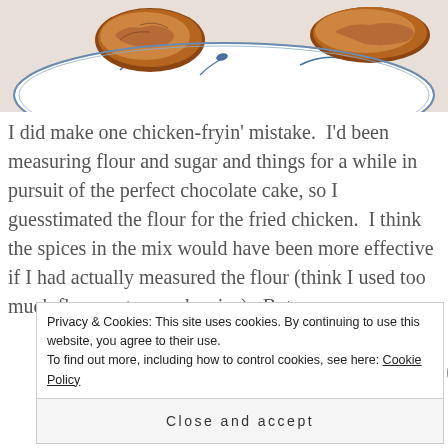[Figure (photo): Photo of fried chicken on a blue-and-white floral plate, partially visible at the top of the page]
I did make one chicken-fryin' mistake.  I'd been measuring flour and sugar and things for a while in pursuit of the perfect chocolate cake, so I guesstimated the flour for the fried chicken.  I think the spices in the mix would have been more effective if I had actually measured the flour (think I used too much flour, not enough spice).  But...
Privacy & Cookies: This site uses cookies. By continuing to use this website, you agree to their use.
To find out more, including how to control cookies, see here: Cookie Policy
Close and accept